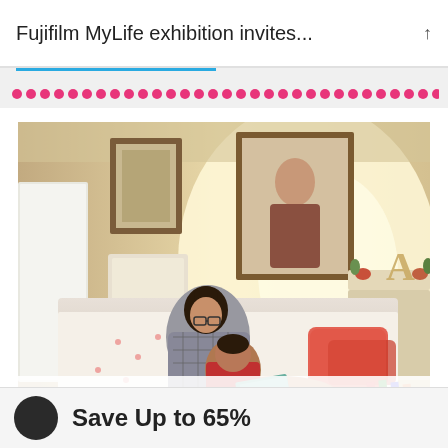Fujifilm MyLife exhibition invites...
[Figure (photo): A woman with glasses and her young daughter sitting on a bed reading a story book together in a warmly lit bedroom. Framed photos hang on the wall behind them, and a decorative letter 'A' sits on a dresser in the background.]
A self-portrait of me reading a story to my daughter on a lazy afternoon, by Akanksha Agarwal
Save Up to 65%